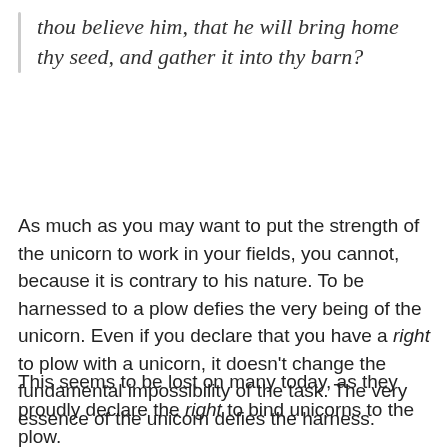thou believe him, that he will bring home thy seed, and gather it into thy barn?
As much as you may want to put the strength of the unicorn to work in your fields, you cannot, because it is contrary to his nature. To be harnessed to a plow defies the very being of the unicorn. Even if you declare that you have a right to plow with a unicorn, it doesn't change the fundamental impossibility of the task. The very essence of the unicorn defies the harness.
This seems to be lost on many today, as they proudly declare the right to bind unicorns to the plow.